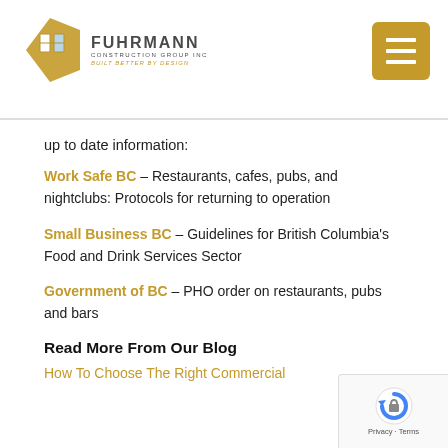[Figure (logo): Fuhrmann Construction Group Inc logo with geometric icon and text 'BUILT BETTER BY DESIGN']
up to date information:
Work Safe BC – Restaurants, cafes, pubs, and nightclubs: Protocols for returning to operation
Small Business BC – Guidelines for British Columbia's Food and Drink Services Sector
Government of BC – PHO order on restaurants, pubs and bars
Read More From Our Blog
How To Choose The Right Commercial...